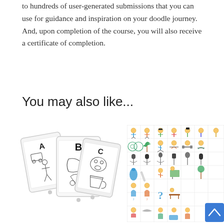to hundreds of user-generated submissions that you can use for guidance and inspiration on your doodle journey. And, upon completion of the course, you will also receive a certificate of completion.
You may also like...
[Figure (illustration): Three tablet devices (iPads) arranged in a fan layout displaying doodle illustration cards labeled A, B, and C with hand-drawn figures]
[Figure (illustration): A grid/sheet of colorful cartoon character and icon clipart stickers showing various people, objects and symbols in rows and columns]